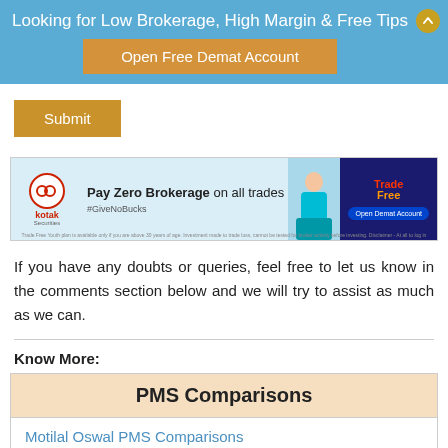Looking for Low Brokerage, High Margin & Free Tips
Open Free Demat Account
Submit
[Figure (other): Kotak Securities advertisement banner: Pay Zero Brokerage on all trades #GiveNoBucks. Open Demat Account button. TradeFree logo.]
If you have any doubts or queries, feel free to let us know in the comments section below and we will try to assist as much as we can.
Know More:
| PMS Comparisons |
| --- |
| Motilal Oswal PMS Comparisons |